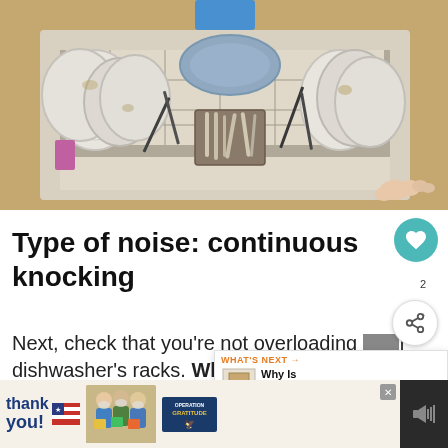[Figure (photo): Overhead view of an overfilled dishwasher rack with dirty plates, bowls, cutlery, and utensils, with a person's bare foot visible at bottom right]
Type of noise: continuous knocking
Next, check that you're not overloading your dishwasher's racks. When dishwasher is overloaded, the
[Figure (infographic): What's Next panel: Door Opens - Why Is Dishwasher'...]
[Figure (photo): Advertisement banner: Thank you! Operation Gratitude with people holding boxes]